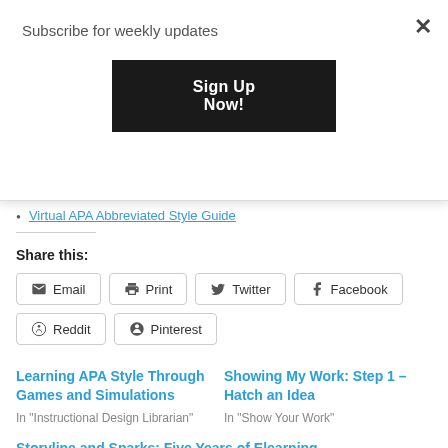Subscribe for weekly updates
Sign Up Now!
Virtual APA Abbreviated Style Guide
Share this:
Email
Print
Twitter
Facebook
Reddit
Pinterest
Learning APA Style Through Games and Simulations
In "Instructional Design Librarian"
Showing My Work: Step 1 – Hatch an Idea
In "Show Your Work"
Storyline and Sparks: Five Years of Elearning